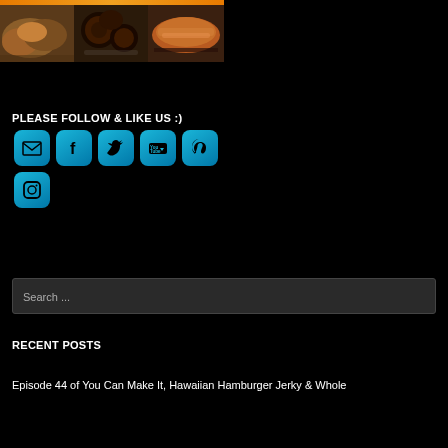[Figure (photo): Three food photos in a strip: baked goods/pastry on left, dark glazed meat/donuts in middle, rolled meat/bacon on right]
PLEASE FOLLOW & LIKE US :)
[Figure (infographic): Social media icons: Email, Facebook, Twitter, YouTube, Pinterest, Instagram — all styled as blue rounded square buttons]
Search ...
RECENT POSTS
Episode 44 of You Can Make It, Hawaiian Hamburger Jerky & Whole